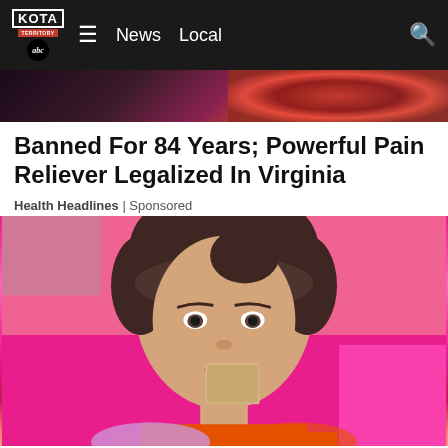KOTA TERRITORY abc | News  Local
[Figure (photo): Partial top image showing a person in a glittery red/sparkly outfit against a dark background, cropped to show only the lower portion]
Banned For 84 Years; Powerful Pain Reliever Legalized In Virginia
Health Headlines | Sponsored
[Figure (photo): A young woman with dark hair and bangs, wearing an orange top, holding a small tan/beige card up near her face, standing in front of a bright pink background]